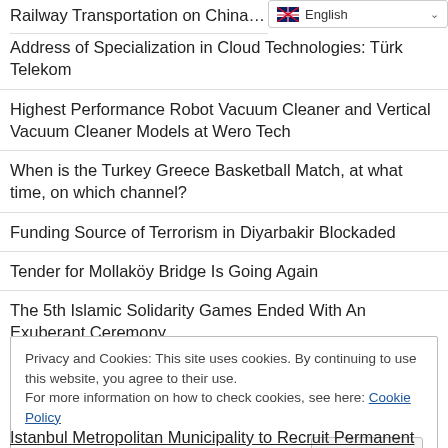Railway Transportation on China TU...
[Figure (screenshot): English language selector dropdown button in top right corner]
Address of Specialization in Cloud Technologies: Türk Telekom
Highest Performance Robot Vacuum Cleaner and Vertical Vacuum Cleaner Models at Wero Tech
When is the Turkey Greece Basketball Match, at what time, on which channel?
Funding Source of Terrorism in Diyarbakir Blockaded
Tender for Mollaköy Bridge Is Going Again
The 5th Islamic Solidarity Games Ended With An Exuberant Ceremony
Privacy and Cookies: This site uses cookies. By continuing to use this website, you agree to their use.
For more information on how to check cookies, see here: Cookie Policy
Istanbul Metropolitan Municipality to Recruit Permanent...